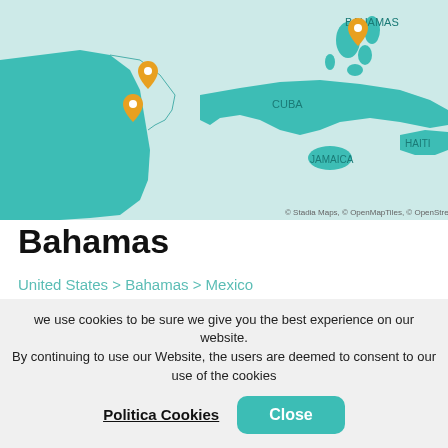[Figure (map): Map of the Caribbean region showing the Bahamas (with orange location pin), Cuba, Haiti, Jamaica, and part of Mexico/US coast. Two orange location pins visible near Mexico/Yucatan coast and one near Bahamas. Teal/turquoise land masses on light blue-green sea background. Map credit: Stadia Maps, OpenMapTiles, OpenStreetMap.]
Bahamas
United States > Bahamas > Mexico
Tour Operator
MSC Cruises
Ship
MSC Seaside
Depart from
Length
we use cookies to be sure we give you the best experience on our website. By continuing to use our Website, the users are deemed to consent to our use of the cookies
Politica Cookies
Close